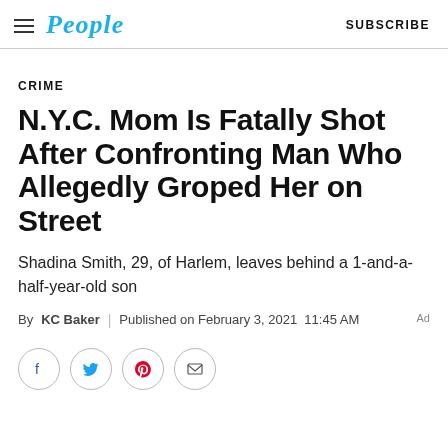People | SUBSCRIBE
CRIME
N.Y.C. Mom Is Fatally Shot After Confronting Man Who Allegedly Groped Her on Street
Shadina Smith, 29, of Harlem, leaves behind a 1-and-a-half-year-old son
By KC Baker | Published on February 3, 2021 11:45 AM
[Figure (other): Social media share buttons: Facebook, Twitter, Pinterest, Email]